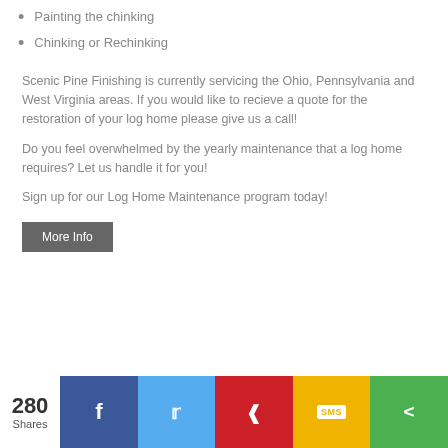Painting the chinking
Chinking or Rechinking
Scenic Pine Finishing is currently servicing the Ohio, Pennsylvania and West Virginia areas. If you would like to recieve a quote for the restoration of your log home please give us a call!
Do you feel overwhelmed by the yearly maintenance that a log home requires? Let us handle it for you!
Sign up for our Log Home Maintenance program today!
More Info
280 Shares